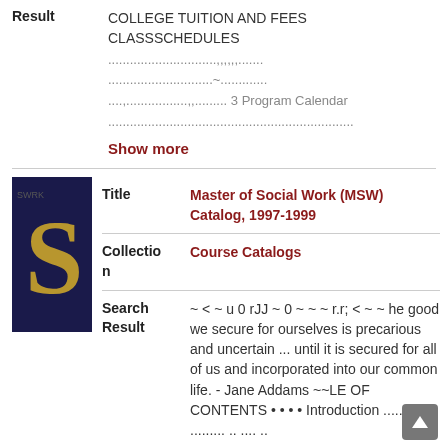Result
COLLEGE TUITION AND FEES CLASSSCHEDULES
..............................,,,,,,.......
.............................~.............
....,.................,,......... 3 Program Calendar
....................................................................
Show more
[Figure (illustration): Thumbnail cover image of Master of Social Work (MSW) Catalog, dark blue background with gold letter S]
Title
Master of Social Work (MSW) Catalog, 1997-1999
Collection
Course Catalogs
Search Result
~ < ~ u 0 rJJ ~ 0 ~ ~ ~ r.r; < ~ ~ he good we secure for ourselves is precarious and uncertain ... until it is secured for all of us and incorporated into our common life. - Jane Addams ~~LE OF CONTENTS • • • • Introduction .......... ......... .. .... .
.............
Show more